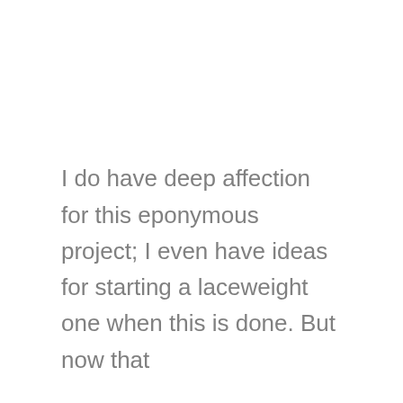I do have deep affection for this eponymous project; I even have ideas for starting a laceweight one when this is done. But now that